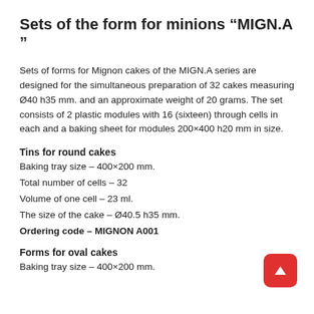Sets of the form for minions “MIGN.A ”
Sets of forms for Mignon cakes of the MIGN.A series are designed for the simultaneous preparation of 32 cakes measuring Ø40 h35 mm. and an approximate weight of 20 grams. The set consists of 2 plastic modules with 16 (sixteen) through cells in each and a baking sheet for modules 200×400 h20 mm in size.
Tins for round cakes
Baking tray size – 400×200 mm.
Total number of cells – 32
Volume of one cell – 23 ml.
The size of the cake – Ø40.5 h35 mm.
Ordering code – MIGNON A001
Forms for oval cakes
Baking tray size – 400×200 mm.